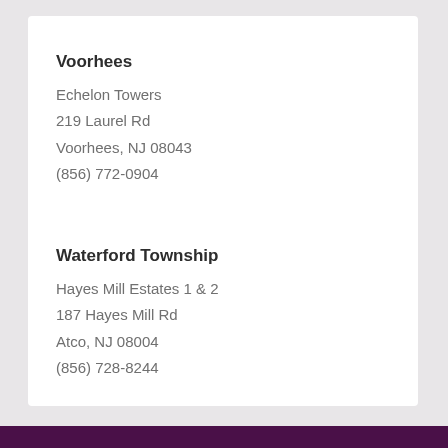Voorhees
Echelon Towers
219 Laurel Rd
Voorhees, NJ 08043
(856) 772-0904
Waterford Township
Hayes Mill Estates 1 & 2
187 Hayes Mill Rd
Atco, NJ 08004
(856) 728-8244